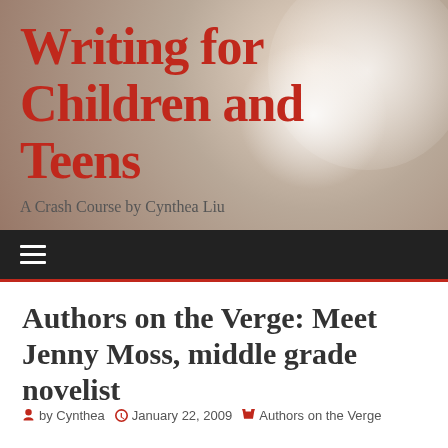Writing for Children and Teens
A Crash Course by Cynthea Liu
Authors on the Verge: Meet Jenny Moss, middle grade novelist
by Cynthea   January 22, 2009   Authors on the Verge